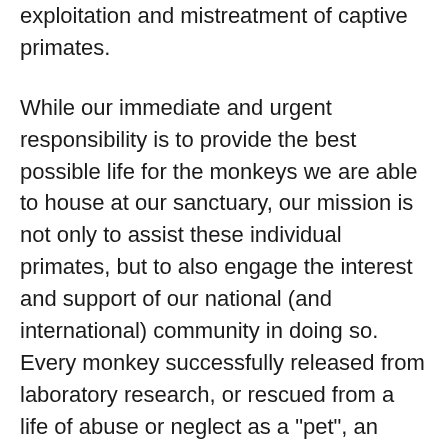exploitation and mistreatment of captive primates.
While our immediate and urgent responsibility is to provide the best possible life for the monkeys we are able to house at our sanctuary, our mission is not only to assist these individual primates, but to also engage the interest and support of our national (and international) community in doing so. Every monkey successfully released from laboratory research, or rescued from a life of abuse or neglect as a "pet", an "entertainer" or a "breeder", becomes a part of our message that these beings are worthy of our efforts